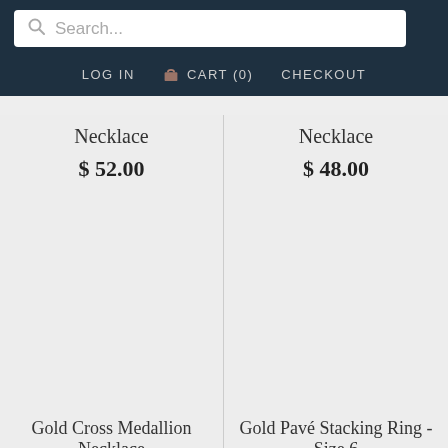Search... LOG IN CART (0) CHECKOUT
Necklace
$ 52.00
Necklace
$ 48.00
[Figure (photo): Product image area - Gold Cross Medallion Necklace]
[Figure (photo): Product image area - Gold Pavé Stacking Ring - Size 6]
Gold Cross Medallion Necklace
Gold Pavé Stacking Ring - Size 6